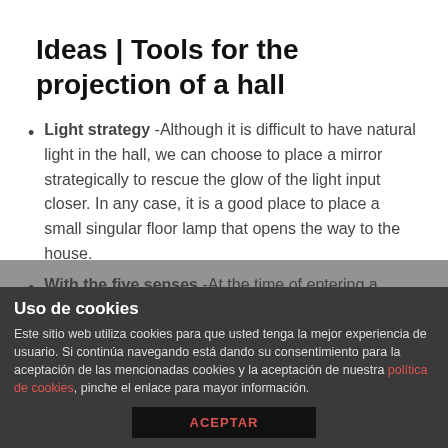Ideas | Tools for the projection of a hall
Light strategy -Although it is difficult to have natural light in the hall, we can choose to place a mirror strategically to rescue the glow of the light input closer. In any case, it is a good place to place a small singular floor lamp that opens the way to the house.
With the five senses -At the time of entering a house, the five senses are activated, so nothing better than taking care of them through smells, colors and the
Uso de cookies
Este sitio web utiliza cookies para que usted tenga la mejor experiencia de usuario. Si continúa navegando está dando su consentimiento para la aceptación de las mencionadas cookies y la aceptación de nuestra política de cookies, pinche el enlace para mayor información.
ACEPTAR